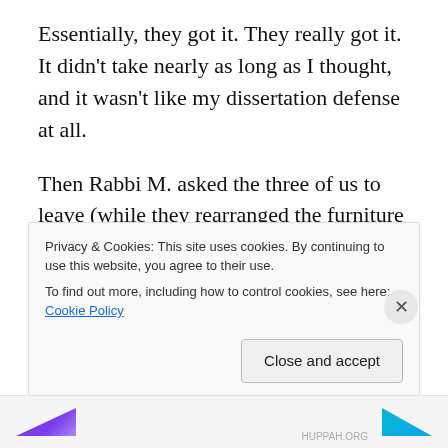Essentially, they got it. They really got it. It didn't take nearly as long as I thought, and it wasn't like my dissertation defense at all.
Then Rabbi M. asked the three of us to leave (while they rearranged the furniture so it wasn't so crowded). We went into one of the classrooms and admired the artwork there – a big puzzle made of pieces that were hand-painted by different families in the congregation back in 2002. When
Privacy & Cookies: This site uses cookies. By continuing to use this website, you agree to their use.
To find out more, including how to control cookies, see here: Cookie Policy